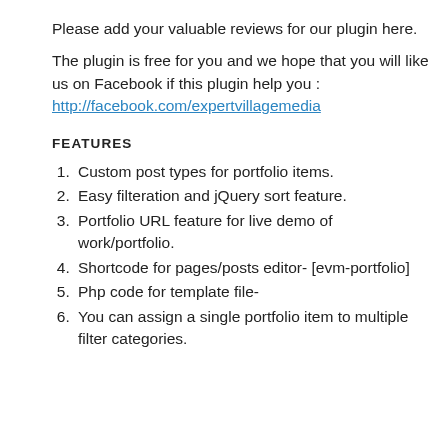Please add your valuable reviews for our plugin here.
The plugin is free for you and we hope that you will like us on Facebook if this plugin help you : http://facebook.com/expertvillagemedia
FEATURES
Custom post types for portfolio items.
Easy filteration and jQuery sort feature.
Portfolio URL feature for live demo of work/portfolio.
Shortcode for pages/posts editor- [evm-portfolio]
Php code for template file-
You can assign a single portfolio item to multiple filter categories.